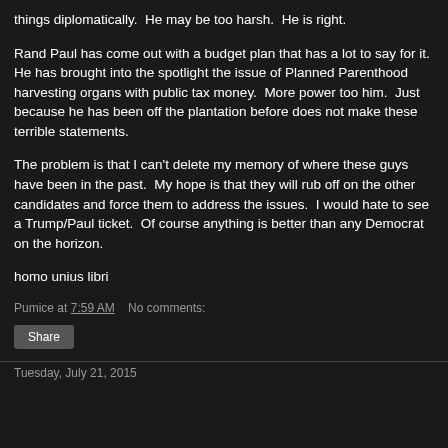things diplomatically.  He may be too harsh.  He is right.
Rand Paul has come out with a budget plan that has a lot to say for it.  He has brought into the spotlight the issue of Planned Parenthood harvesting organs with public tax money.  More power too him.  Just because he has been off the plantation before does not make these terrible statements.
The problem is that I can't delete my memory of where these guys have been in the past.  My hope is that they will rub off on the other candidates and force them to address the issues.  I would hate to see a Trump/Paul ticket.  Of course anything is better than any Democrat on the horizon.
homo unius libri
Pumice at 7:59 AM    No comments:
Share
Tuesday, July 21, 2015